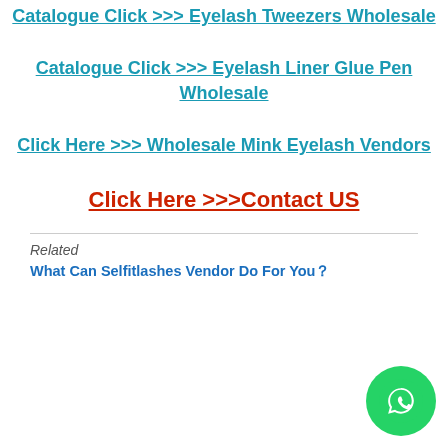Catalogue Click >>> Eyelash Tweezers Wholesale
Catalogue Click >>> Eyelash Liner Glue Pen Wholesale
Click Here >>> Wholesale Mink Eyelash Vendors
Click Here >>>Contact US
Related
What Can Selfitlashes Vendor Do For You？